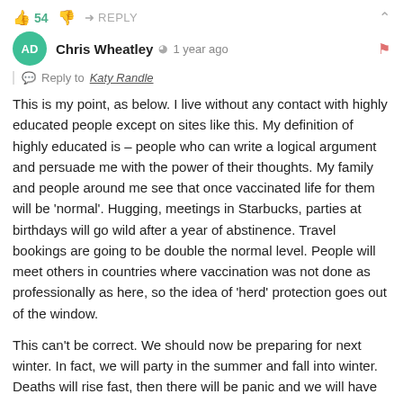👍 54  👎  ➜ REPLY  ^
Chris Wheatley  🕐 1 year ago
Reply to Katy Randle
This is my point, as below. I live without any contact with highly educated people except on sites like this. My definition of highly educated is – people who can write a logical argument and persuade me with the power of their thoughts. My family and people around me see that once vaccinated life for them will be 'normal'. Hugging, meetings in Starbucks, parties at birthdays will go wild after a year of abstinence. Travel bookings are going to be double the normal level. People will meet others in countries where vaccination was not done as professionally as here, so the idea of 'herd' protection goes out of the window.
This can't be correct. We should now be preparing for next winter. In fact, we will party in the summer and fall into winter. Deaths will rise fast, then there will be panic and we will have more lockdowns, albeit on a smaller scale.